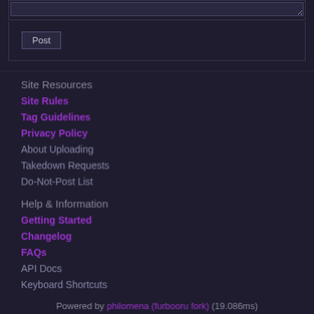[textarea / Post button area]
Site Resources
Site Rules
Tag Guidelines
Privacy Policy
About Uploading
Takedown Requests
Do-Not-Post List
Help & Information
Getting Started
Changelog
FAQs
API Docs
Keyboard Shortcuts
Advertising
About
Community
Contact
Donations
Site Staff List
Statistics
Discord Server
Twitter
Powered by philomena (furbooru fork) (19.086ms)